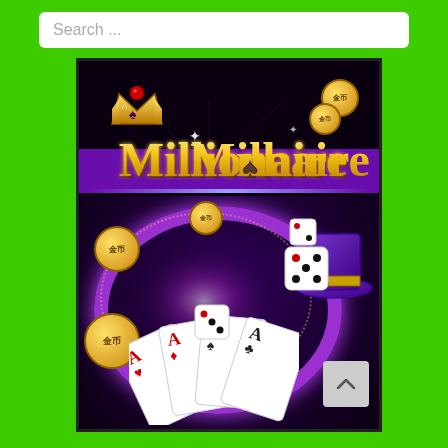Search ...
[Figure (illustration): Millionaire casino mobile game promotional image featuring gold stylized 'Millionaire' logo with crown, purple banner, gold coins labeled 金币 (Chinese for gold coins), a purple top hat, playing card aces, white dice, and a glowing purple circular roulette ring on a dark background.]